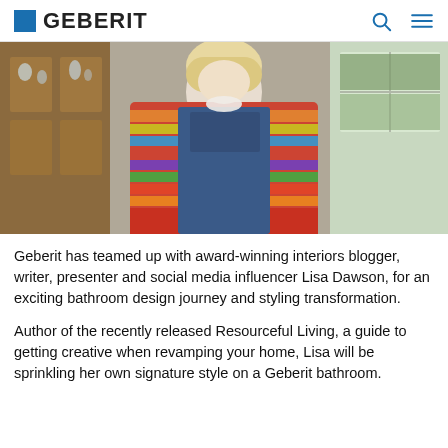GEBERIT
[Figure (photo): A person with blonde hair wearing a colorful striped knit cardigan over denim dungarees, standing near a wooden cabinet with glassware and a window with greenery outside.]
Geberit has teamed up with award-winning interiors blogger, writer, presenter and social media influencer Lisa Dawson, for an exciting bathroom design journey and styling transformation.
Author of the recently released Resourceful Living, a guide to getting creative when revamping your home, Lisa will be sprinkling her own signature style on a Geberit bathroom.